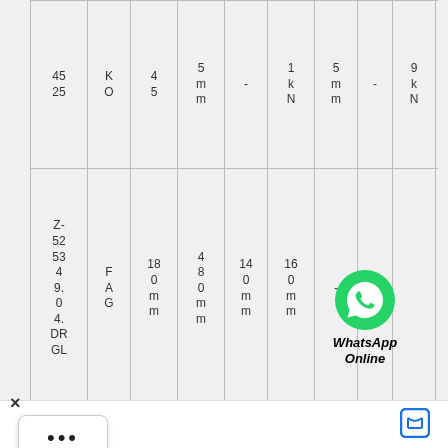| Model | Brand | Bore | OD | Width | Load Cr | Load2 | Load3 | Load4 | Weight |
| --- | --- | --- | --- | --- | --- | --- | --- | --- | --- |
| 45
25 | K
O | 4
5 | 5
mm
m | - | 1
k
N | 5
mm | - | 9
k
N | - |
| Z-
52
53
4
9.
0
4.
DR
GL | F
A
G | 18
0
m
m | 4
8
0
m
m | 14
0
m
m | 16
0
m
m | - | - | - | 21
5,
9
m
m |
| Z-
52
... | F
A
G | 2
8
0
m | 7
2
0
m | 21
8
m | 21
8
m | - | - | - | 31
7,
5
m
m |
[Figure (logo): WhatsApp Online logo with green phone icon and text 'WhatsApp Online']
X
...
Chat now